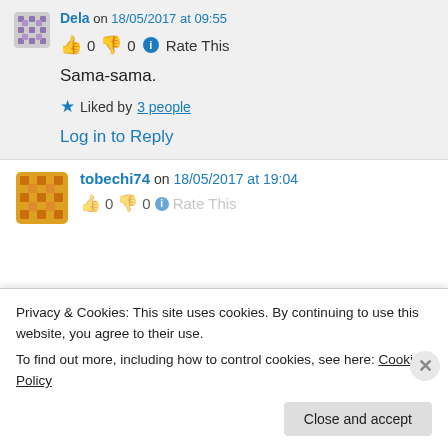Dela on 18/05/2017 at 09:55
👍 0 👎 0 ℹ Rate This
Sama-sama.
★ Liked by 3 people
Log in to Reply
tobechi74 on 18/05/2017 at 19:04
Privacy & Cookies: This site uses cookies. By continuing to use this website, you agree to their use. To find out more, including how to control cookies, see here: Cookie Policy
Close and accept